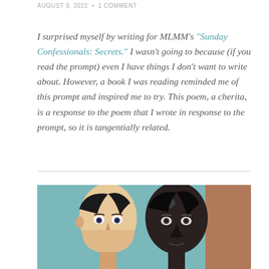AUGUST 9, 2022  •  1 COMMENT
I surprised myself by writing for MLMM's "Sunday Confessionals: Secrets." I wasn't going to because (if you read the prompt) even I have things I don't want to write about. However, a book I was reading reminded me of this prompt and inspired me to try. This poem, a cherita, is a response to the poem that I wrote in response to the prompt, so it is tangentially related.
[Figure (illustration): A surrealist painting showing two human heads in profile/front view against a teal/blue background — one lighter-skinned face on the left and one darker, more shadowed face on the right, reminiscent of René Magritte's style.]